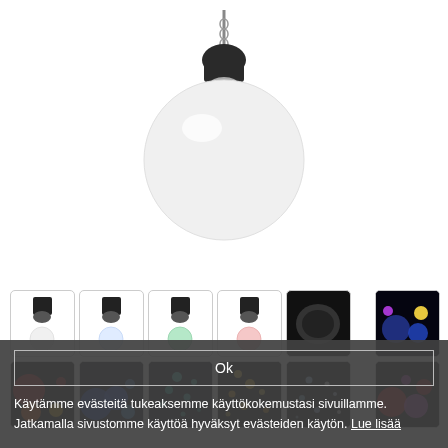[Figure (photo): A white globe pendant lamp hanging from ceiling, with black mount/fitting at top and silver chain]
[Figure (photo): Thumbnail grid of 12 product variant images showing the globe lamp in white, blue-white, green, pink colors and multiple colorful light display scenes on black background]
Ok
Käytämme evästeitä tukeaksemme käyttökokemustasi sivuillamme. Jatkamalla sivustomme käyttöä hyväksyt evästeiden käytön. Lue lisää